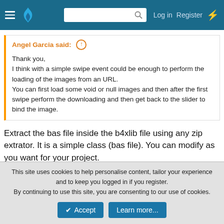Log in  Register
Angel Garcia said: ↑

Thank you,
I think with a simple swipe event could be enough to perform the loading of the images from an URL.
You can first load some void or null images and then after the first swipe perform the downloading and then get back to the slider to bind the image.
Extract the bas file inside the b4xlib file using any zip extrator. It is a simple class (bas file). You can modify as you want for your project.
Angel Garcia
This site uses cookies to help personalise content, tailor your experience and to keep you logged in if you register.
By continuing to use this site, you are consenting to our use of cookies.